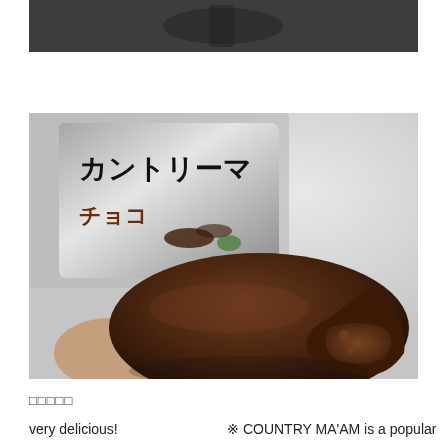[Figure (photo): Partial view of a dark-colored food item (top crop), shown against a dark background]
[Figure (photo): Close-up photo of a Country Ma'am chocolate cookie (カントリーマアム チョコ) held in a hand, with the packaging visible in the background. The cookie is bitten to show the interior, covered in dark chocolate.]
□□□□□
very delicious!
※ COUNTRY MA'AM is a popular